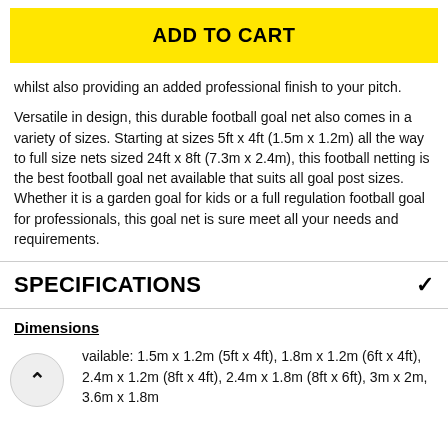ADD TO CART
whilst also providing an added professional finish to your pitch.
Versatile in design, this durable football goal net also comes in a variety of sizes. Starting at sizes 5ft x 4ft (1.5m x 1.2m) all the way to full size nets sized 24ft x 8ft (7.3m x 2.4m), this football netting is the best football goal net available that suits all goal post sizes. Whether it is a garden goal for kids or a full regulation football goal for professionals, this goal net is sure meet all your needs and requirements.
SPECIFICATIONS
Dimensions
Sizes available: 1.5m x 1.2m (5ft x 4ft), 1.8m x 1.2m (6ft x 4ft), 2.4m x 1.2m (8ft x 4ft), 2.4m x 1.8m (8ft x 6ft), 3m x 2m, 3.6m x 1.8m